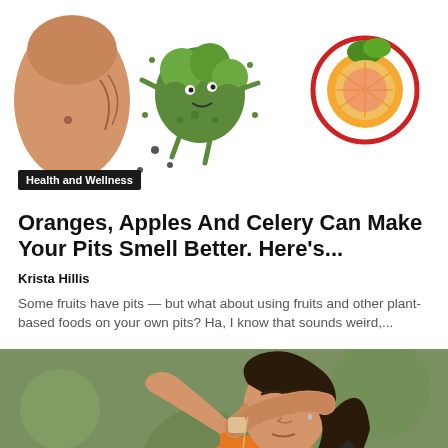[Figure (illustration): Cartoon illustration showing a body silhouette with underarm area, a green broccoli character, and a grapefruit/orange with a red circle around it, on a white background.]
Health and Wellness
Oranges, Apples And Celery Can Make Your Pits Smell Better. Here's...
Krista Hillis
Some fruits have pits — but what about using fruits and other plant-based foods on your own pits? Ha, I know that sounds weird,...
[Figure (photo): Photo of a young woman runner in an orange tank top wiping sweat from her brow with her forearm, looking tired, with blurred green outdoor background.]